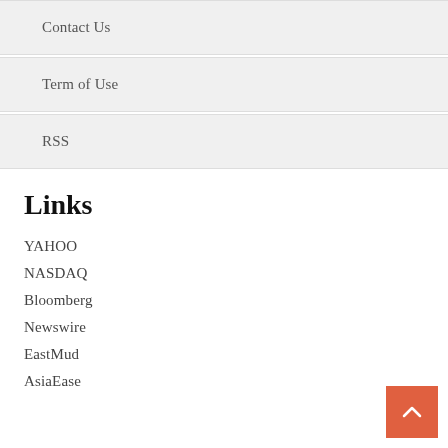Contact Us
Term of Use
RSS
Links
YAHOO
NASDAQ
Bloomberg
Newswire
EastMud
AsiaEase